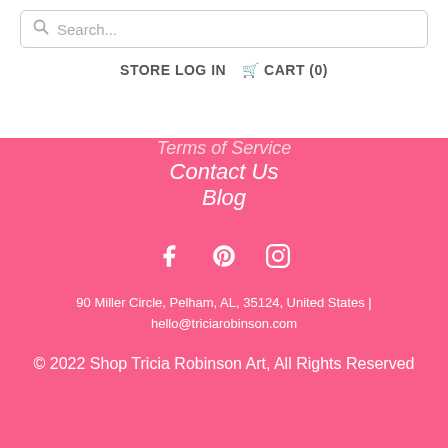Search...
STORE LOG IN  CART (0)
Terms of Service
Contact Us
Blog
[Figure (infographic): Social media icons: Facebook, Pinterest, Instagram]
90 Miller Circle, Pelham, AL, 35124, United States | hello@triciarobinson.com
© 2022 Shop Tricia Robinson Art, All Rights Reserved